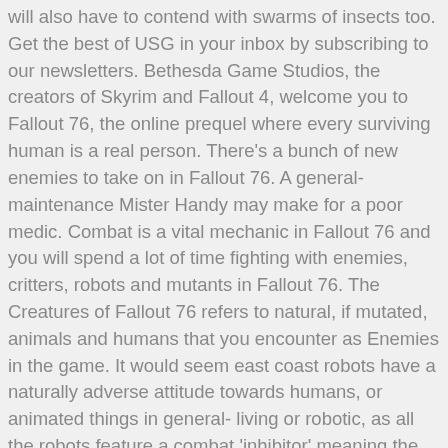will also have to contend with swarms of insects too. Get the best of USG in your inbox by subscribing to our newsletters. Bethesda Game Studios, the creators of Skyrim and Fallout 4, welcome you to Fallout 76, the online prequel where every surviving human is a real person. There's a bunch of new enemies to take on in Fallout 76. A general-maintenance Mister Handy may make for a poor medic. Combat is a vital mechanic in Fallout 76 and you will spend a lot of time fighting with enemies, critters, robots and mutants in Fallout 76. The Creatures of Fallout 76 refers to natural, if mutated, animals and humans that you encounter as Enemies in the game. It would seem east coast robots have a naturally adverse attitude towards humans, or animated things in general- living or robotic, as all the robots feature a combat 'inhibitor' meaning the robots may act violently without such an inhibitor. Control A DragonFallout 76 advertised it would have dragons, but players weren't expecting this... Energy Damage in Fallout 76. The robot workbench appears in the Fallout 4 add-on Automatron and makes an unusable apperance in Fallout 76 as a part of the Wild Appalachia content series in...